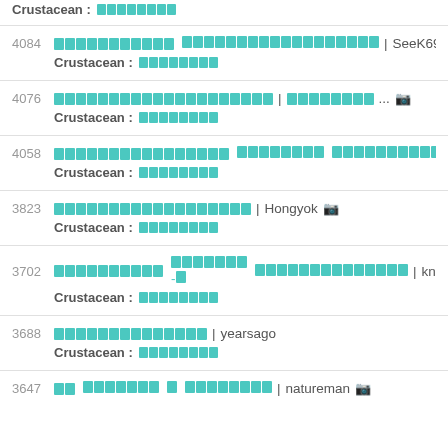Crustacean : [blocks]
4084 [Thai title] | SeeK69 [camera] Crustacean : [blocks]
4076 [Thai title] | [Thai]... [camera] Crustacean : [blocks]
4058 [Thai title] Crustacean : [blocks]
3823 [Thai title] | Hongyok [camera] Crustacean : [blocks]
3702 [Thai title] | knotsna Crustacean : [blocks]
3688 [Thai title] | yearsago Crustacean : [blocks]
3647 [Thai] | natureman [camera]